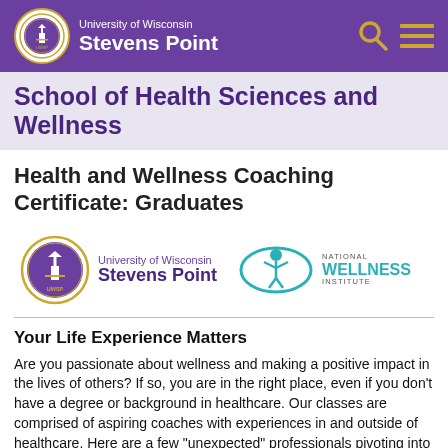University of Wisconsin Stevens Point
School of Health Sciences and Wellness
Health and Wellness Coaching Certificate: Graduates
[Figure (logo): University of Wisconsin Stevens Point logo and National Wellness Institute logo side by side]
Your Life Experience Matters
Are you passionate about wellness and making a positive impact in the lives of others? If so, you are in the right place, even if you don't have a degree or background in healthcare. Our classes are comprised of aspiring coaches with experiences in and outside of healthcare. Here are a few "unexpected" professionals pivoting into a